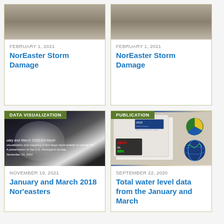[Figure (photo): Storm damage aerial photo, top left card]
FEBRUARY 1, 2021
NorEaster Storm Damage
[Figure (photo): Storm damage aerial photo, top right card]
FEBRUARY 1, 2021
NorEaster Storm Damage
DATA VISUALIZATION
[Figure (photo): Satellite image of January and March 2018 Nor'easters storm]
NOVEMBER 19, 2021
January and March 2018 Nor'easters
PUBLICATION
[Figure (photo): USGS publication documents and reports spread]
SEPTEMBER 22, 2020
Total water level data from the January and March